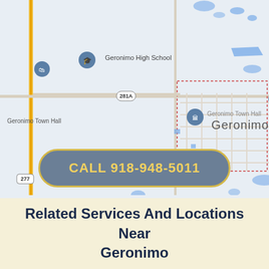[Figure (map): Google Maps view of Geronimo, Oklahoma showing Geronimo High School, Geronimo Elementary School, Geronimo Town Hall, route markers 281A and 277, and a street grid of the town center outlined in red dashed border. Road 277 runs north-south on the left. Various blue water features and buildings are visible.]
CALL 918-948-5011
Related Services And Locations Near Geronimo